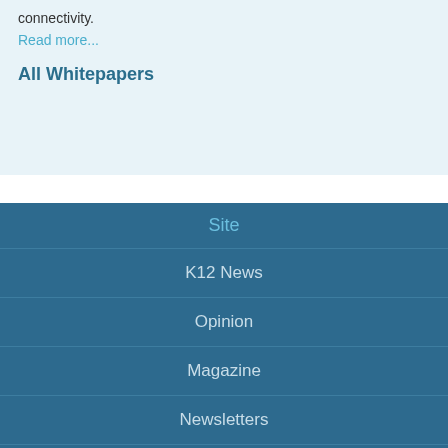connectivity.
Read more...
All Whitepapers
Site
K12 News
Opinion
Magazine
Newsletters
Subscribe
Resources
RSS Feeds